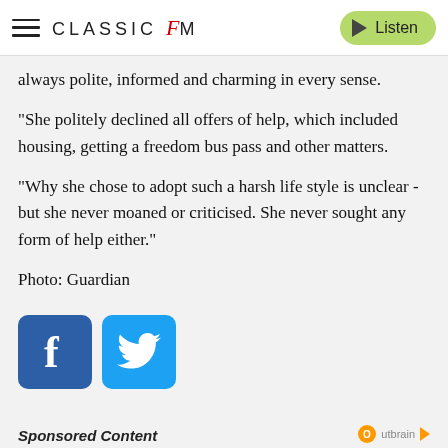Classic FM — Listen
always polite, informed and charming in every sense.
“She politely declined all offers of help, which included housing, getting a freedom bus pass and other matters.
“Why she chose to adopt such a harsh life style is unclear - but she never moaned or criticised. She never sought any form of help either.”
Photo: Guardian
[Figure (other): Facebook and Twitter social share icons]
Sponsored Content